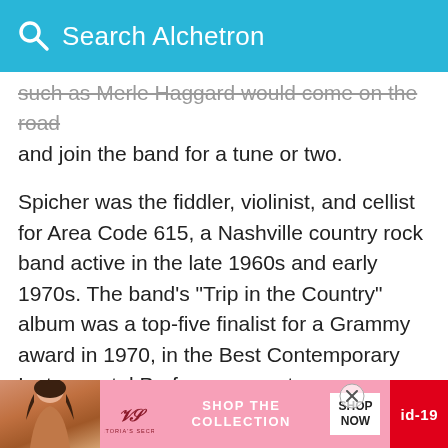Search Alchetron
such as Merle Haggard would come on the road and join the band for a tune or two.
Spicher was the fiddler, violinist, and cellist for Area Code 615, a Nashville country rock band active in the late 1960s and early 1970s. The band's "Trip in the Country" album was a top-five finalist for a Grammy award in 1970, in the Best Contemporary Instrumental Performance category.
The Nominees were: Blood Sweat & Tears—Variations on a Theme By Erik Satie Area Code 615—Trip in the Country Boots Randolph—With Love Ferrente & Teicher—Midnight Cowboy Henry Manc…
[Figure (infographic): Victoria's Secret advertisement banner at the bottom of the page with a model photo on the left, VS logo, 'SHOP THE COLLECTION' text, 'SHOP NOW' button, and a red badge with 'id-19']